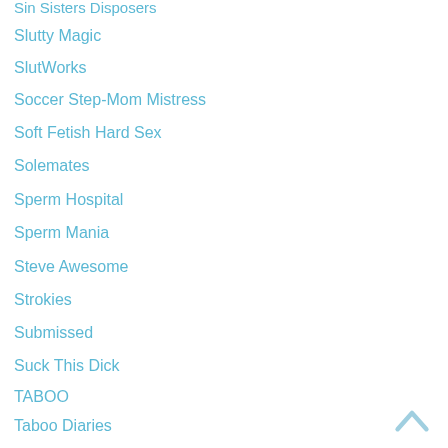Sin Sisters Disposers
Slutty Magic
SlutWorks
Soccer Step-Mom Mistress
Soft Fetish Hard Sex
Solemates
Sperm Hospital
Sperm Mania
Steve Awesome
Strokies
Submissed
Suck This Dick
TABOO
Taboo Diaries
Taboo POV